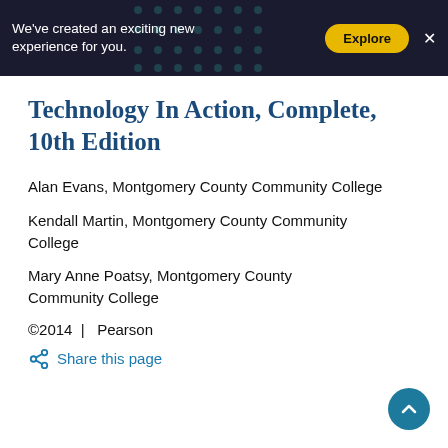We've created an exciting new experience for you.  Explore  ×
Technology In Action, Complete, 10th Edition
Alan Evans, Montgomery County Community College
Kendall Martin, Montgomery County Community College
Mary Anne Poatsy, Montgomery County Community College
©2014  |  Pearson
Share this page